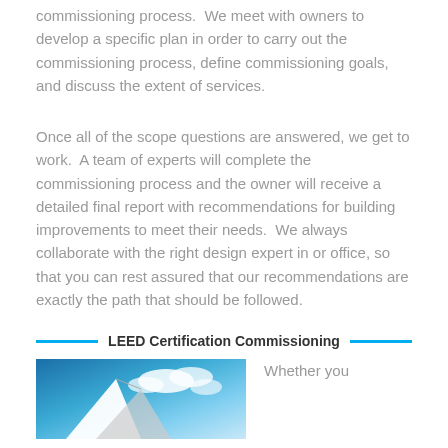commissioning process.  We meet with owners to develop a specific plan in order to carry out the commissioning process, define commissioning goals, and discuss the extent of services.
Once all of the scope questions are answered, we get to work.  A team of experts will complete the commissioning process and the owner will receive a detailed final report with recommendations for building improvements to meet their needs.  We always collaborate with the right design expert in or office, so that you can rest assured that our recommendations are exactly the path that should be followed.
LEED Certification Commissioning
[Figure (photo): Photo of building architecture with angular white roof structure against a blue sky with clouds]
Whether you